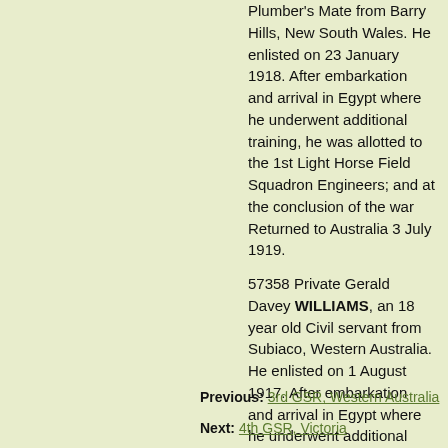Plumber's Mate from Barry Hills, New South Wales. He enlisted on 23 January 1918. After embarkation and arrival in Egypt where he underwent additional training, he was allotted to the 1st Light Horse Field Squadron Engineers; and at the conclusion of the war Returned to Australia 3 July 1919.
57358 Private Gerald Davey WILLIAMS, an 18 year old Civil servant from Subiaco, Western Australia. He enlisted on 1 August 1917. After embarkation and arrival in Egypt where he underwent additional training, he was allotted to the 10th Light Horse Regiment; and at the conclusion of the war Returned to Australia 10 July 1919.
Previous: 3rd GSR, Western Australia
Next: 4th GSR, Victoria